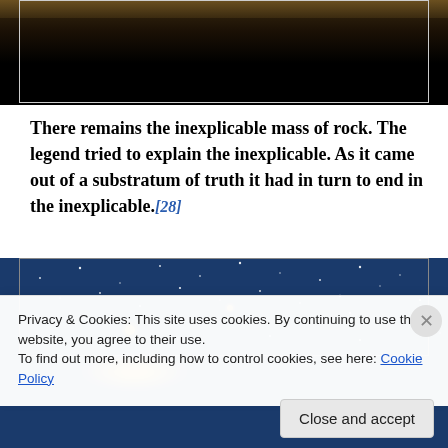[Figure (photo): Dark landscape photo showing a dark hillside or rock formation silhouetted against a dark sky, mostly black with a slight brownish top edge.]
There remains the inexplicable mass of rock. The legend tried to explain the inexplicable. As it came out of a substratum of truth it had in turn to end in the inexplicable.[28]
[Figure (photo): Night sky photograph showing a starfield with the Milky Way galaxy, a bright golden star visible near the center-left, against a deep blue-black sky.]
Privacy & Cookies: This site uses cookies. By continuing to use this website, you agree to their use.
To find out more, including how to control cookies, see here: Cookie Policy
Close and accept